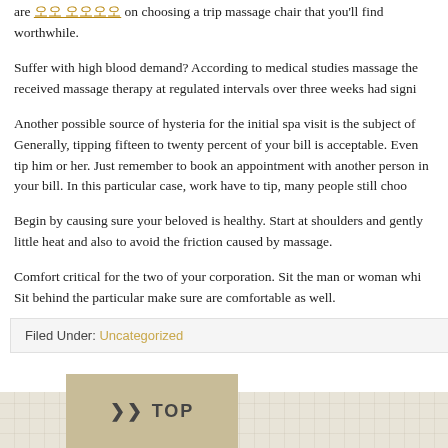are 오오 오오오오 on choosing a trip massage chair that you'll find worthwhile.
Suffer with high blood demand? According to medical studies massage the received massage therapy at regulated intervals over three weeks had signi
Another possible source of hysteria for the initial spa visit is the subject of Generally, tipping fifteen to twenty percent of your bill is acceptable. Even tip him or her. Just remember to book an appointment with another person in your bill. In this particular case, work have to tip, many people still choo
Begin by causing sure your beloved is healthy. Start at shoulders and gently little heat and also to avoid the friction caused by massage.
Comfort critical for the two of your corporation. Sit the man or woman whi Sit behind the particular make sure are comfortable as well.
Filed Under: Uncategorized
[Figure (other): TOP button with upward chevron arrow on a tan/beige background with grid pattern footer area]